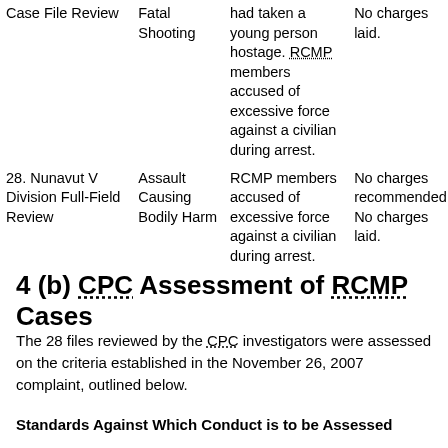|  |  |  |  |
| --- | --- | --- | --- |
| Case File Review | Fatal Shooting | had taken a young person hostage. RCMP members accused of excessive force against a civilian during arrest. | No charges laid. |
| 28. Nunavut V Division Full-Field Review | Assault Causing Bodily Harm | RCMP members accused of excessive force against a civilian during arrest. | No charges recommended. No charges laid. |
4 (b) CPC Assessment of RCMP Cases
The 28 files reviewed by the CPC investigators were assessed on the criteria established in the November 26, 2007 complaint, outlined below.
Standards Against Which Conduct is to be Assessed